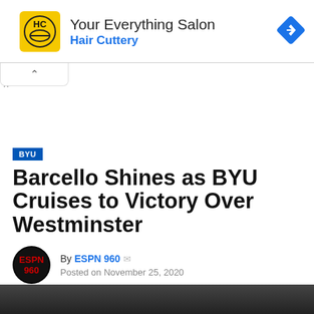[Figure (other): Hair Cuttery advertisement banner with yellow HC logo, text 'Your Everything Salon' and 'Hair Cuttery' in blue, and a blue navigation arrow icon]
BYU
Barcello Shines as BYU Cruises to Victory Over Westminster
By ESPN 960  Posted on November 25, 2020
[Figure (photo): Bottom strip of a photo, dark background showing a partial figure]